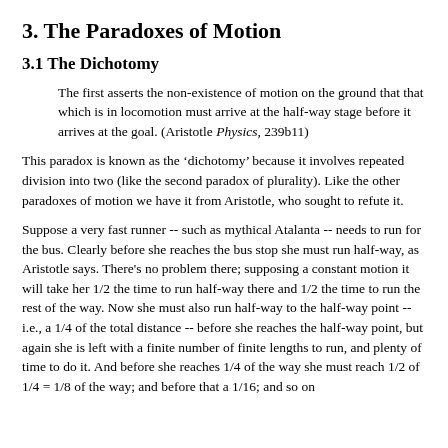3. The Paradoxes of Motion
3.1 The Dichotomy
The first asserts the non-existence of motion on the ground that that which is in locomotion must arrive at the half-way stage before it arrives at the goal. (Aristotle Physics, 239b11)
This paradox is known as the ‘dichotomy’ because it involves repeated division into two (like the second paradox of plurality). Like the other paradoxes of motion we have it from Aristotle, who sought to refute it.
Suppose a very fast runner -- such as mythical Atalanta -- needs to run for the bus. Clearly before she reaches the bus stop she must run half-way, as Aristotle says. There's no problem there; supposing a constant motion it will take her 1/2 the time to run half-way there and 1/2 the time to run the rest of the way. Now she must also run half-way to the half-way point -- i.e., a 1/4 of the total distance -- before she reaches the half-way point, but again she is left with a finite number of finite lengths to run, and plenty of time to do it. And before she reaches 1/4 of the way she must reach 1/2 of 1/4 = 1/8 of the way; and before that a 1/16; and so on